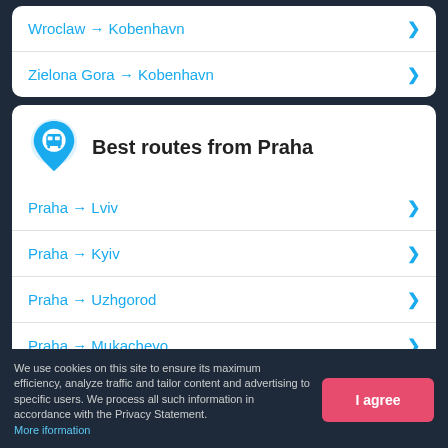Wroclaw → Kobenhavn
Zielona Gora → Kobenhavn
Best routes from Praha
Praha → Lviv
Praha → Kyiv
Praha → Uzhgorod
Praha → Mukachevo
Praha → Ivano-Frankivsk
Praha → Odessa
We use cookies on this site to ensure its maximum efficiency, analyze traffic and tailor content and advertising to specific users. We process all such information in accordance with the Privacy Statement. More iformation